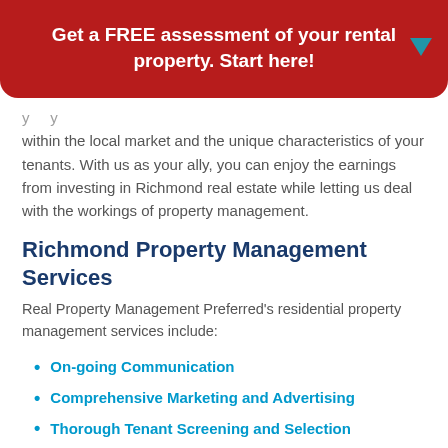Get a FREE assessment of your rental property. Start here!
within the local market and the unique characteristics of your tenants. With us as your ally, you can enjoy the earnings from investing in Richmond real estate while letting us deal with the workings of property management.
Richmond Property Management Services
Real Property Management Preferred's residential property management services include:
On-going Communication
Comprehensive Marketing and Advertising
Thorough Tenant Screening and Selection
Full-Service Leasing
Timely Rent Collection
Regular Inspections